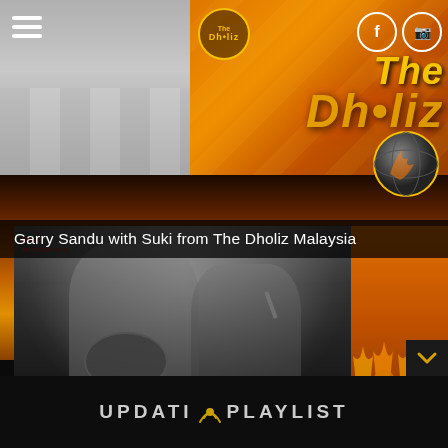[Figure (photo): Screenshot of The Dholiz Malaysia music website/app. Top left: photo of feet on tiled floor. Top center: The Dholiz logo circle in yellow. Top right: Facebook and Instagram social icons, large stylized 'The Dholiz' text in gold/orange with flames. Middle: caption 'Garry Sandu with Suki from The Dholiz Malaysia' on dark overlay. Background: orange/fire themed gradient. Bottom left: black and white concert photo with two performers, one playing dhol drum, one singing into mic, with red pixel photography watermark. Bottom right: orange crowd silhouette graphic. Bottom: dark bar with 'UPDATING PLAYLIST' text and signal icon.]
Garry Sandu with Suki from The Dholiz Malaysia
UPDATING PLAYLIST